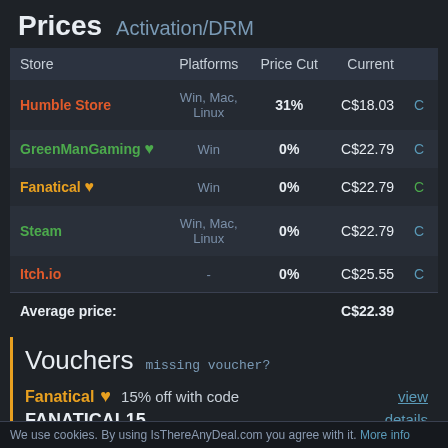Prices  Activation/DRM
| Store | Platforms | Price Cut | Current |
| --- | --- | --- | --- |
| Humble Store | Win, Mac, Linux | 31% | C$18.03 |
| GreenManGaming | Win | 0% | C$22.79 |
| Fanatical | Win | 0% | C$22.79 |
| Steam | Win, Mac, Linux | 0% | C$22.79 |
| Itch.io | - | 0% | C$25.55 |
| Average price: |  |  | C$22.39 |
Vouchers  missing voucher?
Fanatical ♥  15% off with code  FANATICAL15  view details
We use cookies. By using IsThereAnyDeal.com you agree with it. More info